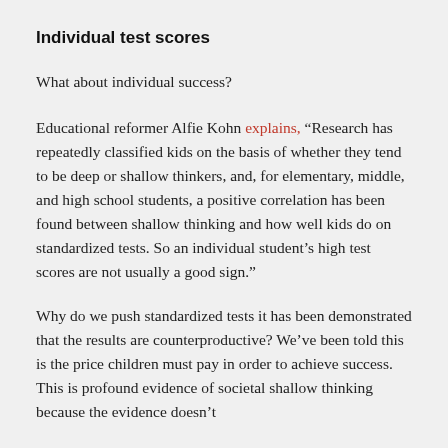Individual test scores
What about individual success?
Educational reformer Alfie Kohn explains, “Research has repeatedly classified kids on the basis of whether they tend to be deep or shallow thinkers, and, for elementary, middle, and high school students, a positive correlation has been found between shallow thinking and how well kids do on standardized tests. So an individual student’s high test scores are not usually a good sign.”
Why do we push standardized tests it has been demonstrated that the results are counterproductive? We’ve been told this is the price children must pay in order to achieve success. This is profound evidence of societal shallow thinking because the evidence doesn’t